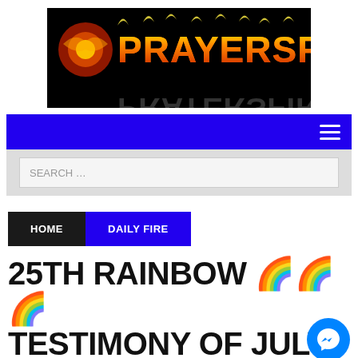[Figure (logo): PRAYERSFIRE logo with fire-styled text on black background with reflection]
[Figure (screenshot): Blue navigation bar with hamburger menu icon on right]
[Figure (screenshot): Light grey search bar area with white search input box labeled SEARCH ...]
HOME   DAILY FIRE
25TH RAINBOW 🌈🌈🌈 TESTIMONY OF JULY: